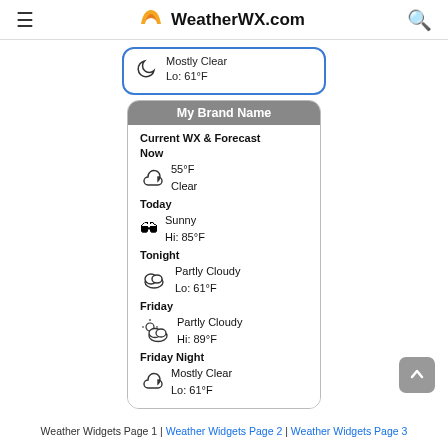WeatherWX.com
[Figure (infographic): Partially visible weather card with Mostly Clear, Lo: 61°F]
[Figure (infographic): My Brand Name weather widget showing Current WX & Forecast: Now 55°F Clear, Today Sunny Hi: 85°F, Tonight Partly Cloudy Lo: 61°F, Friday Partly Cloudy Hi: 89°F, Friday Night Mostly Clear Lo: 61°F]
Weather Widgets Page 1 | Weather Widgets Page 2 | Weather Widgets Page 3